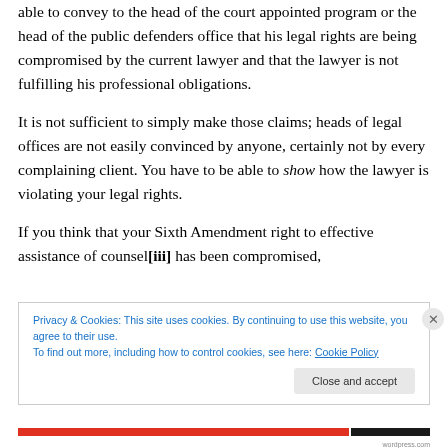able to convey to the head of the court appointed program or the head of the public defenders office that his legal rights are being compromised by the current lawyer and that the lawyer is not fulfilling his professional obligations.
It is not sufficient to simply make those claims; heads of legal offices are not easily convinced by anyone, certainly not by every complaining client. You have to be able to show how the lawyer is violating your legal rights.
If you think that your Sixth Amendment right to effective assistance of counsel[iii] has been compromised,
Privacy & Cookies: This site uses cookies. By continuing to use this website, you agree to their use.
To find out more, including how to control cookies, see here: Cookie Policy